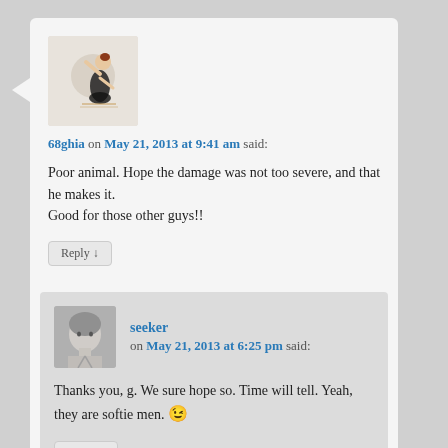[Figure (photo): Avatar image of user 68ghia — illustrated figure of a woman in black skirt and white top]
68ghia on May 21, 2013 at 9:41 am said:
Poor animal. Hope the damage was not too severe, and that he makes it.
Good for those other guys!!
Reply ↓
[Figure (photo): Avatar image of user seeker — photo of a person with short gray hair]
seeker on May 21, 2013 at 6:25 pm said:
Thanks you, g. We sure hope so. Time will tell. Yeah, they are softie men. 😉
Reply ↓